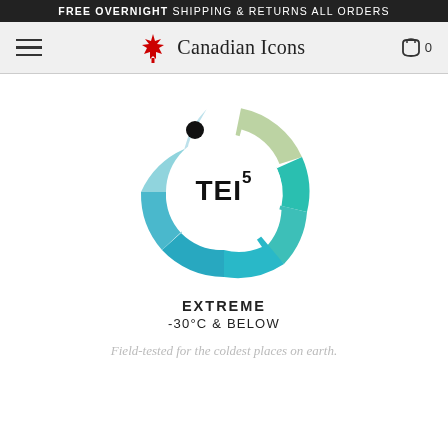FREE OVERNIGHT SHIPPING & RETURNS ALL ORDERS
[Figure (logo): Canadian Icons logo with red maple leaf and navigation bar including hamburger menu and cart icon]
[Figure (donut-chart): TEI5 Thermal Experience Index donut chart showing EXTREME rating, segmented ring in teal/cyan/light-blue/light-green colors with a black dot indicator near top-left. Center text reads TEI superscript 5.]
EXTREME
-30°C & BELOW
Field-tested for the coldest places on earth.